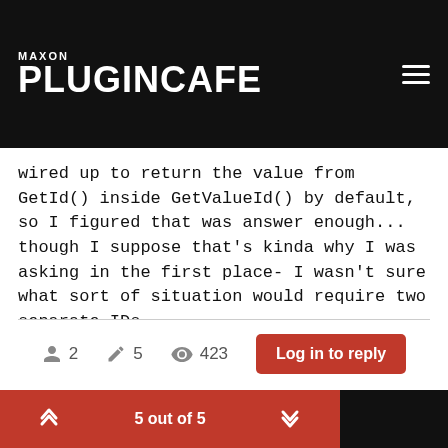MAXON PLUGINCAFE
wired up to return the value from GetId() inside GetValueId() by default, so I figured that was answer enough... though I suppose that's kinda why I was asking in the first place- I wasn't sure what sort of situation would require two separate IDs.
Thanks for your response though, that certainly clears up why there's two different functions to handle that.
-CMPX
2 users  5 posts  423 views  Log in to reply  5 out of 5